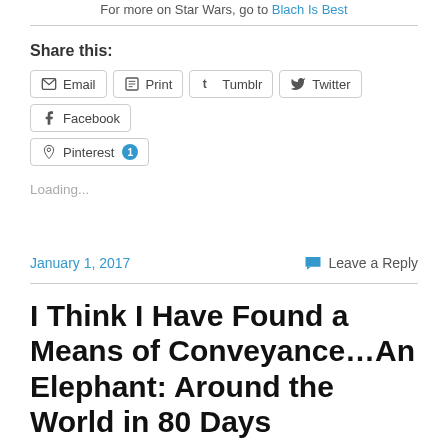For more on Star Wars, go to Blach Is Best
Share this:
Email  Print  Tumblr  Twitter  Facebook  Pinterest 1
Loading...
January 1, 2017    Leave a Reply
I Think I Have Found a Means of Conveyance…An Elephant: Around the World in 80 Days